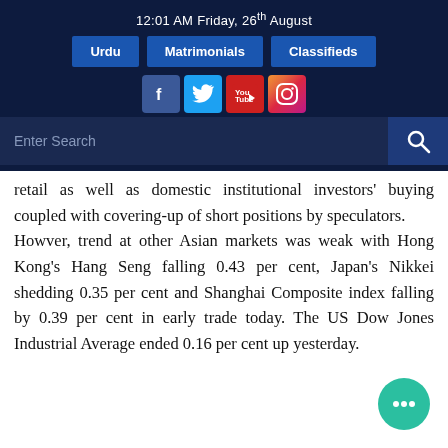12:01 AM Friday, 26th August
Urdu | Matrimonials | Classifieds
retail as well as domestic institutional investors' buying coupled with covering-up of short positions by speculators. Howver, trend at other Asian markets was weak with Hong Kong's Hang Seng falling 0.43 per cent, Japan's Nikkei shedding 0.35 per cent and Shanghai Composite index falling by 0.39 per cent in early trade today. The US Dow Jones Industrial Average ended 0.16 per cent up yesterday.